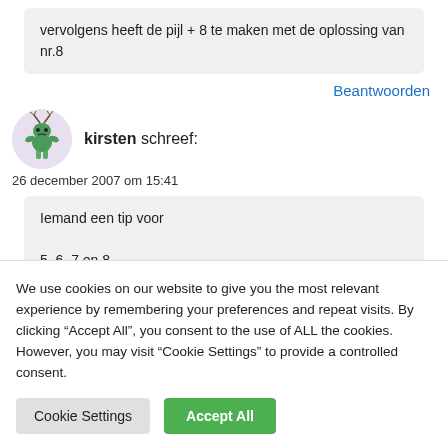vervolgens heeft de pijl + 8 te maken met de oplossing van nr.8
Beantwoorden
[Figure (illustration): Circular avatar with a cartoon green character on a light purple background]
kirsten schreef:
26 december 2007 om 15:41
Iemand een tip voor

5, 6, 7 en 8.
We use cookies on our website to give you the most relevant experience by remembering your preferences and repeat visits. By clicking “Accept All”, you consent to the use of ALL the cookies. However, you may visit “Cookie Settings” to provide a controlled consent.
Cookie Settings
Accept All